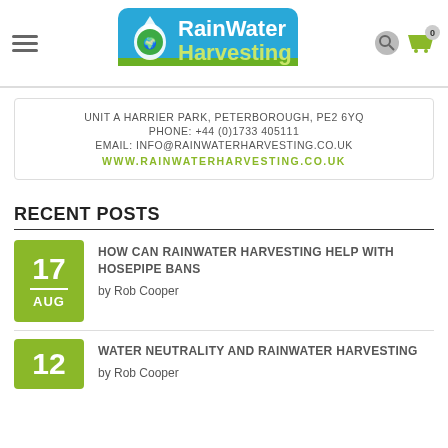RainWater Harvesting
UNIT A HARRIER PARK, PETERBOROUGH, PE2 6YQ
PHONE: +44 (0)1733 405111
EMAIL: INFO@RAINWATERHARVESTING.CO.UK
WWW.RAINWATERHARVESTING.CO.UK
RECENT POSTS
HOW CAN RAINWATER HARVESTING HELP WITH HOSEPIPE BANS
by Rob Cooper
17 AUG
WATER NEUTRALITY AND RAINWATER HARVESTING
by Rob Cooper
12